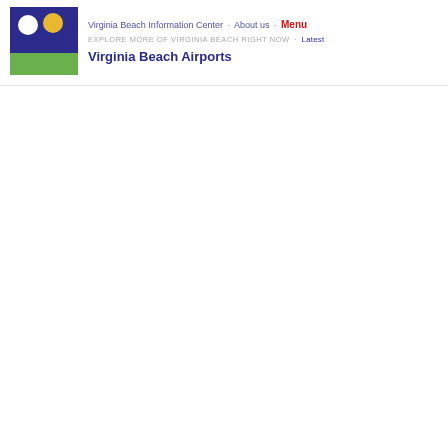[Figure (logo): Virginia Beach Information Center logo: dark blue square with white circle and yellow/orange circle, green rectangle at bottom]
Virginia Beach Information Center · About us · Menu
EXPLORE MORE OF VIRGINIA BEACH RIGHT NOW · Latest
Virginia Beach Airports